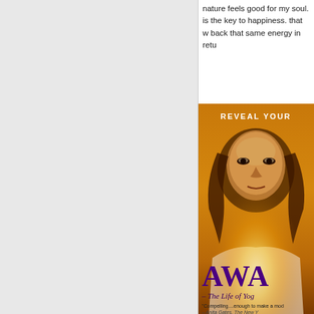nature feels good for my soul. is the key to happiness. that w back that same energy in retu
[Figure (photo): Book cover for 'AWAKE - The Life of Yogananda' showing a sepia-toned portrait of a spiritual figure with long hair, glowing light at bottom, text 'REVEAL YOUR' at top, and quote 'Compelling....enough to make a mod - Anita Gates, The New Y' at bottom]